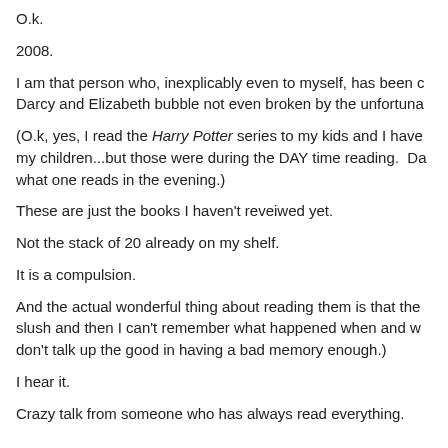O.k.
2008.
I am that person who, inexplicably even to myself, has been c... Darcy and Elizabeth bubble not even broken by the unfortuna...
(O.k, yes, I read the Harry Potter series to my kids and I have my children...but those were during the DAY time reading.  Da... what one reads in the evening.)
These are just the books I haven't reveiwed yet.
Not the stack of 20 already on my shelf.
It is a compulsion.
And the actual wonderful thing about reading them is that the... slush and then I can't remember what happened when and w... don't talk up the good in having a bad memory enough.)
I hear it.
Crazy talk from someone who has always read everything.